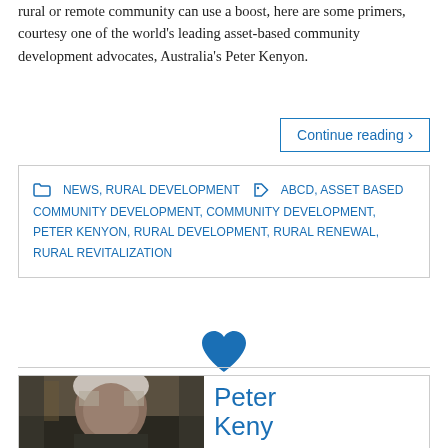rural or remote community can use a boost, here are some primers, courtesy one of the world's leading asset-based community development advocates, Australia's Peter Kenyon.
Continue reading ›
NEWS, RURAL DEVELOPMENT  ABCD, ASSET BASED COMMUNITY DEVELOPMENT, COMMUNITY DEVELOPMENT, PETER KENYON, RURAL DEVELOPMENT, RURAL RENEWAL, RURAL REVITALIZATION
[Figure (photo): A heart icon used as a section divider between articles]
[Figure (photo): Portrait photo of an elderly man with white hair in front of bookshelves, alongside large blue text reading 'Peter Keny']